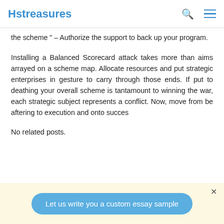Hstreasures
the scheme " – Authorize the support to back up your program.
Installing a Balanced Scorecard attack takes more than aims arrayed on a scheme map. Allocate resources and put strategic enterprises in gesture to carry through those ends. If put to deathing your overall scheme is tantamount to winning the war, each strategic subject represents a conflict. Now, move from be aftering to execution and onto succes
No related posts.
Let us write you a custom essay sample